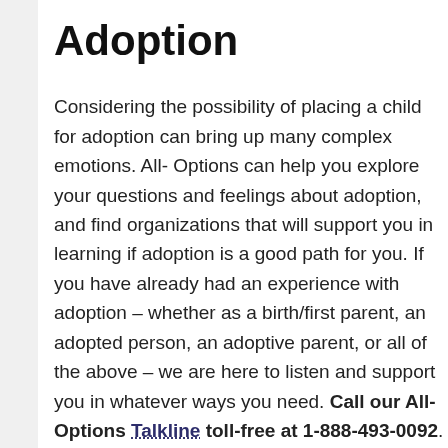Adoption
Considering the possibility of placing a child for adoption can bring up many complex emotions. All-Options can help you explore your questions and feelings about adoption, and find organizations that will support you in learning if adoption is a good path for you. If you have already had an experience with adoption – whether as a birth/first parent, an adopted person, an adoptive parent, or all of the above – we are here to listen and support you in whatever ways you need. Call our All-Options Talkline toll-free at 1-888-493-0092.
Note: These links will take you to outside websites. We are not affiliated with these websites and we are not...